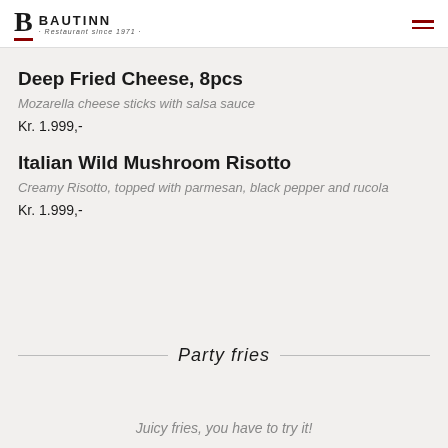BAUTINN · Restaurant since 1971 ·
Deep Fried Cheese, 8pcs
Mozarella cheese sticks with salsa sauce
Kr. 1.999,-
Italian Wild Mushroom Risotto
Creamy Risotto, topped with parmesan, black pepper and rucola
Kr. 1.999,-
Party fries
Juicy fries, you have to try it!